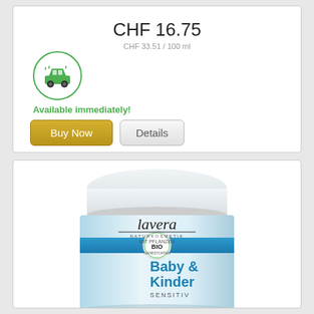CHF 16.75
CHF 33.51 / 100 ml
[Figure (illustration): Green car icon inside a green circle, indicating available for immediate pickup/delivery]
Available immediately!
Buy Now
Details
[Figure (photo): Lavera Baby & Kinder Sensitiv cream jar with blue stripe and BIO seal]